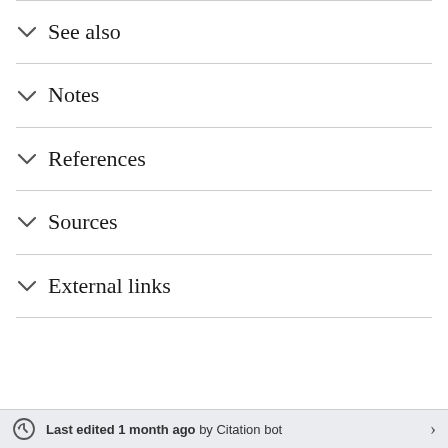See also
Notes
References
Sources
External links
Last edited 1 month ago by Citation bot